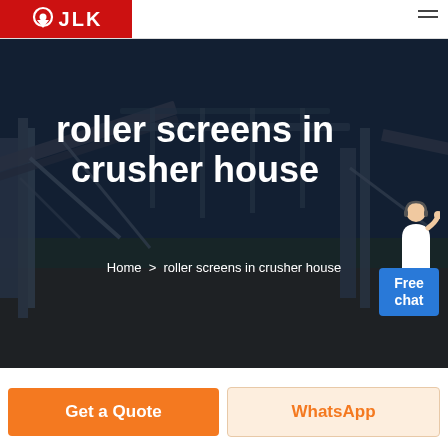JLK
[Figure (screenshot): Industrial crusher/conveyor facility background image with dark overlay, showing heavy equipment and conveyor belts at a quarry or mining site]
roller screens in crusher house
Home > roller screens in crusher house
[Figure (illustration): Customer service representative figure with Free chat button overlay]
Get a Quote
WhatsApp